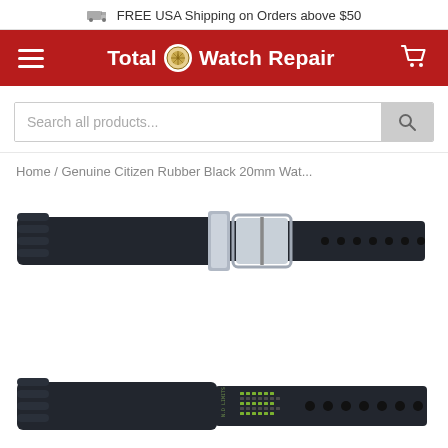FREE USA Shipping on Orders above $50
[Figure (screenshot): Total Watch Repair website header with red navigation bar showing hamburger menu, Total Watch Repair logo, and cart icon]
[Figure (other): Search bar with placeholder text 'Search all products...' and search button]
Home / Genuine Citizen Rubber Black 20mm Wat...
[Figure (photo): Two black rubber watch bands: top one showing the front with silver buckle and keeper, bottom one showing the reverse side with perforations and text markings]